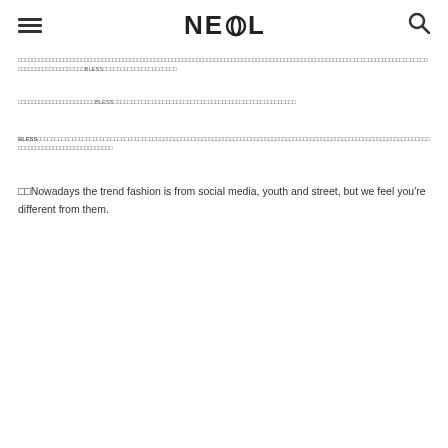NE⊙L
□□□□□□□□□□□□□□□□□□□□□□□□□□□□□□□□□□□□□□□□□□□□□□□□□□□□□□□□□□□□□□□□□□□□□□□□□□□□□□□□□□□□□□□□□□□□□□□□□□□□□□□□□□□□□□□□□□□□□□□□□□□□□□□□□□□□□□□□BLESS□□□□□□□□□□□□□□□□□□□□□
□□□□□□□□□□□□□□□□□□□□□□BLESS□□□□□□□□□□□□□□□□□□□□□□□□□□□□□□□□□□□□□□□□□□□□□□□□□□□□
BLESS□□□□□□□□□□□□□□□□□□□□□□□□□□□□□□□□□□□□□□□□□□□□□□□□□□□□□□□□□□□□□□□□□□□□□□□□□□□□□□□□□□□□□□□□□□□□□□□□□□□□□□□□□□□□□□
□□Nowadays the trend fashion is from social media, youth and street, but we feel you're different from them.